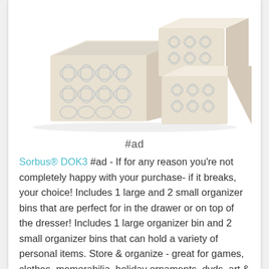[Figure (photo): Product photo of Sorbus fabric organizer bins — one large and two small beige/cream storage boxes with a quatrefoil/trellis pattern in light blue-grey, arranged in a set on a white background.]
#ad
Sorbus® DOK3 #ad - If for any reason you're not completely happy with your purchase- if it breaks, your choice! Includes 1 large and 2 small organizer bins that are perfect for in the drawer or on top of the dresser! Includes 1 large organizer bin and 2 small organizer bins that can hold a variety of personal items. Store & organize - great for games, clothes, memorabilia, holiday ornaments, dvds, art &